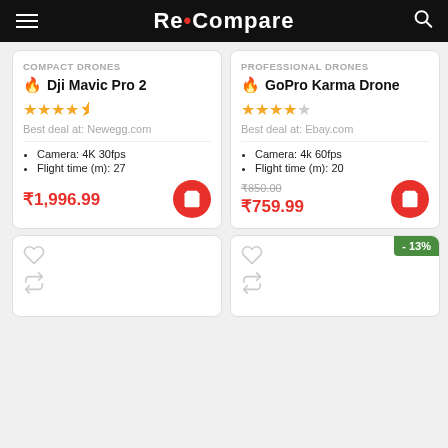Re•Compare
COMPACT DRONES - Dji Mavic Pro 2 - 4.5 stars - Best deal at: Newegg.com - Camera: 4K 30fps - Flight time (m): 27 - ₹1,996.99
PROFESSIONAL DRONES - GoPro Karma Drone - 4 stars - Best deal at: Ebay.com - Camera: 4k 60fps - Flight time (m): 20 - ₹850.00 (original) ₹759.99